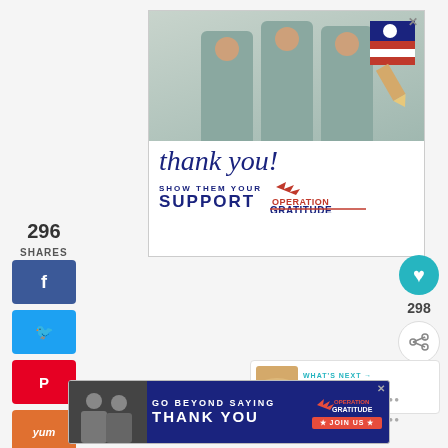296
SHARES
[Figure (infographic): Social share buttons: Facebook (f), Twitter bird, Pinterest (P), Yummly (yum), Flipboard (r) — vertical left sidebar]
[Figure (photo): Advertisement: Three healthcare workers in scrubs and masks holding thank-you cards, with a pencil/flag graphic. Text reads 'thank you! SHOW THEM YOUR SUPPORT OPERATION GRATITUDE']
[Figure (infographic): Right-side engagement icons: heart (teal circle), 298, share icon]
[Figure (infographic): WHAT'S NEXT → Gluten Free Butterscotc... with cookie image]
[Figure (photo): Bottom banner ad: GO BEYOND SAYING THANK YOU — OPERATION GRATITUDE ★ JOIN US ★, with group photo on left, red/white/blue design]